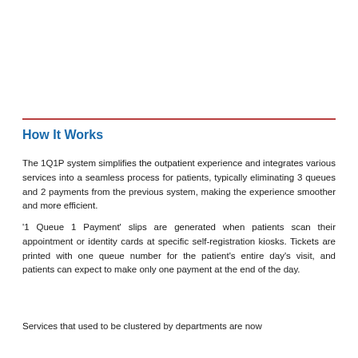How It Works
The 1Q1P system simplifies the outpatient experience and integrates various services into a seamless process for patients, typically eliminating 3 queues and 2 payments from the previous system, making the experience smoother and more efficient.
'1 Queue 1 Payment' slips are generated when patients scan their appointment or identity cards at specific self-registration kiosks. Tickets are printed with one queue number for the patient's entire day's visit, and patients can expect to make only one payment at the end of the day.
Services that used to be clustered by departments are now